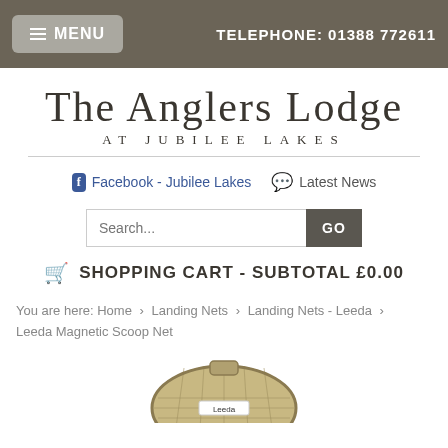MENU   TELEPHONE: 01388 772611
THE ANGLERS LODGE AT JUBILEE LAKES
Facebook - Jubilee Lakes   Latest News
Search... GO
SHOPPING CART - SUBTOTAL £0.00
You are here: Home › Landing Nets › Landing Nets - Leeda › Leeda Magnetic Scoop Net
[Figure (photo): Partial view of a Leeda Magnetic Scoop Net with mesh netting visible]